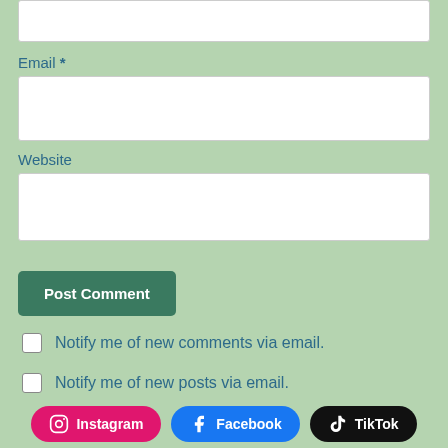[Figure (screenshot): Top white input box (partial, cropped at top)]
Email *
[Figure (screenshot): Email input text field (white box)]
Website
[Figure (screenshot): Website input text field (white box)]
Post Comment
Notify me of new comments via email.
Notify me of new posts via email.
Instagram  Facebook  TikTok